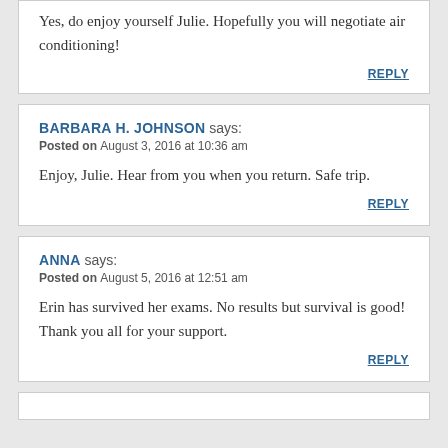Yes, do enjoy yourself Julie. Hopefully you will negotiate air conditioning!
REPLY
BARBARA H. JOHNSON says:
Posted on August 3, 2016 at 10:36 am
Enjoy, Julie. Hear from you when you return. Safe trip.
REPLY
ANNA says:
Posted on August 5, 2016 at 12:51 am
Erin has survived her exams. No results but survival is good! Thank you all for your support.
REPLY